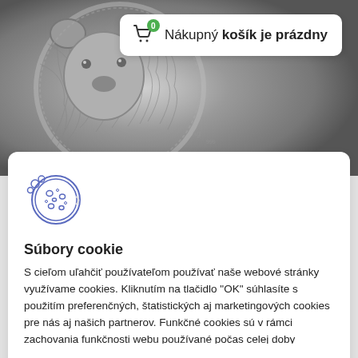[Figure (photo): Silver coin with animal (koala/kookaburra) engraving shown in grayscale at the top of the page]
0 Nákupný košík je prázdny
[Figure (illustration): Cookie icon - a round cookie with chocolate chips inside a circle]
Súbory cookie
S cieľom uľahčiť používateľom používať naše webové stránky využívame cookies. Kliknutím na tlačidlo "OK" súhlasíte s použitím preferenčných, štatistických aj marketingových cookies pre nás aj našich partnerov. Funkčné cookies sú v rámci zachovania funkčnosti webu používané počas celej doby prehliadania webom. Podrobné informácie a nastavenia ku cookies nájdete tu.
Ok